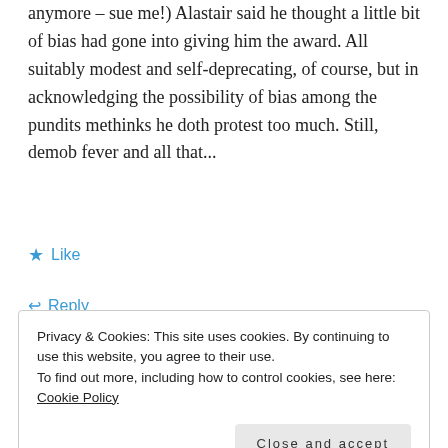anymore – sue me!) Alastair said he thought a little bit of bias had gone into giving him the award. All suitably modest and self-deprecating, of course, but in acknowledging the possibility of bias among the pundits methinks he doth protest too much. Still, demob fever and all that...
★ Like
↩ Reply
MARK
Sep 11, 2018 / 8:13 pm
Privacy & Cookies: This site uses cookies. By continuing to use this website, you agree to their use.
To find out more, including how to control cookies, see here: Cookie Policy
Close and accept
match."